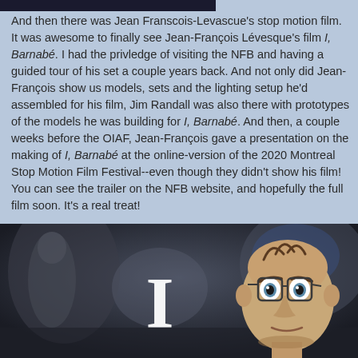And then there was Jean Franscois-Levascue's stop motion film. It was awesome to finally see Jean-François Lévesque's film I, Barnabé. I had the privledge of visiting the NFB and having a guided tour of his set a couple years back. And not only did Jean-François show us models, sets and the lighting setup he'd assembled for his film, Jim Randall was also there with prototypes of the models he was building for I, Barnabé. And then, a couple weeks before the OIAF, Jean-François gave a presentation on the making of I, Barnabé at the online-version of the 2020 Montreal Stop Motion Film Festival--even though they didn't show his film! You can see the trailer on the NFB website, and hopefully the full film soon. It's a real treat!
[Figure (photo): Still from the stop motion film I, Barnabé showing a surprised-looking animated character with wide eyes and sparse hair, with a large letter I visible in the center of frame against a dark blurred background.]